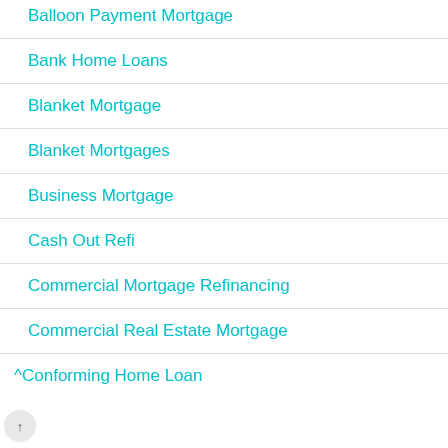Balloon Payment Mortgage
Bank Home Loans
Blanket Mortgage
Blanket Mortgages
Business Mortgage
Cash Out Refi
Commercial Mortgage Refinancing
Commercial Real Estate Mortgage
^Conforming Home Loan